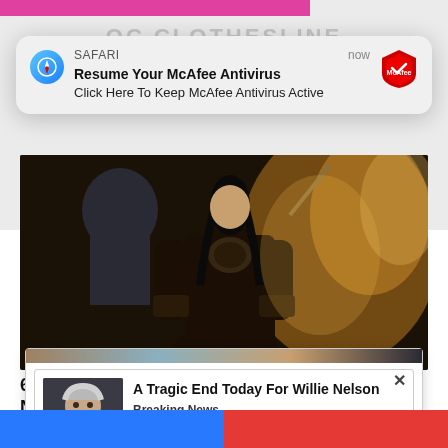[Figure (screenshot): Safari push notification card reading 'Resume Your McAfee Antivirus' with subtitle 'Click Here To Keep McAfee Antivirus Active', showing Safari compass icon on left and McAfee shield logo on right, timestamped 'now']
[Figure (photo): Warrior woman in dark armor holding a weapon, dramatic fire-lit scene, appears to be from the TV show Xena: Warrior Princess]
6 Unforgettable Shows From The 90s That Need To Make A Comeback
Brainberries
[Figure (screenshot): Pop-up advertisement card with close X button, showing thumbnail photo of elderly man (Willie Nelson) with ad text 'A Tragic End Today For Willie Nelson' and source label 'Breaking News']